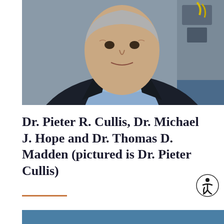[Figure (photo): Portrait photo of Dr. Pieter Cullis, an older man wearing a dark blazer over a light blue button-up shirt, photographed in what appears to be a laboratory setting with equipment visible in the background.]
Dr. Pieter R. Cullis, Dr. Michael J. Hope and Dr. Thomas D. Madden (pictured is Dr. Pieter Cullis)